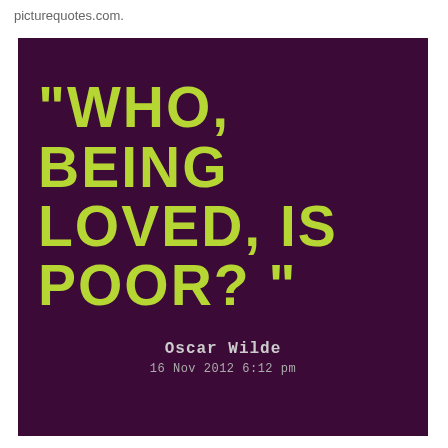picturequotes.com.
[Figure (illustration): Dark purple background quote card with lime green bold uppercase text reading: "WHO, BEING LOVED, IS POOR?" with attribution to Oscar Wilde, 16 Nov 2012 6:12 pm]
Oscar Wilde
16 Nov 2012 6:12 pm